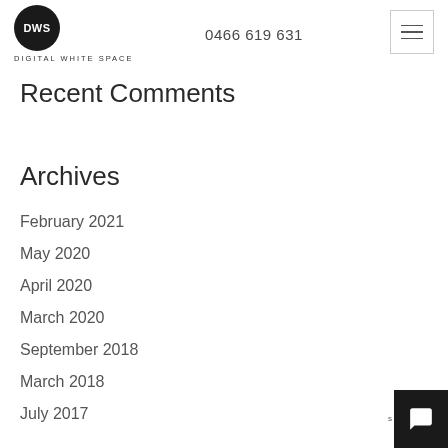DWS DIGITAL WHITE SPACE | 0466 619 631
Recent Comments
Archives
February 2021
May 2020
April 2020
March 2020
September 2018
March 2018
July 2017